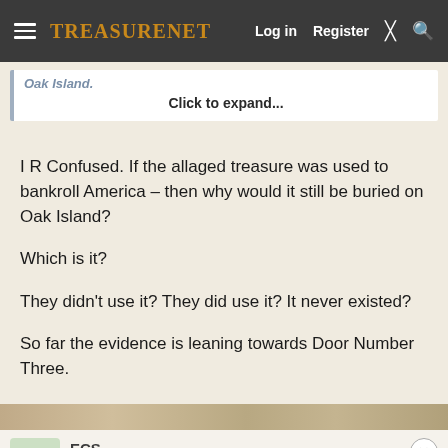TreasureNet  Log in  Register
Oak Island.
Click to expand...
I R Confused. If the allaged treasure was used to bankroll America - then why would it still be buried on Oak Island?

Which is it?

They didn't use it? They did use it? It never existed?

So far the evidence is leaning towards Door Number Three.
ECS
Banned